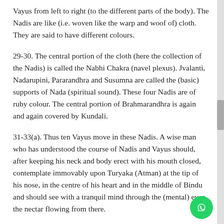Vayus from left to right (to the different parts of the body). The Nadis are like (i.e. woven like the warp and woof of) cloth. They are said to have different colours.
29-30. The central portion of the cloth (here the collection of the Nadis) is called the Nabhi Chakra (navel plexus). Jvalanti, Nadarupini, Pararandhra and Susumna are called the (basic) supports of Nada (spiritual sound). These four Nadis are of ruby colour. The central portion of Brahmarandhra is again and again covered by Kundali.
31-33(a). Thus ten Vayus move in these Nadis. A wise man who has understood the course of Nadis and Vayus should, after keeping his neck and body erect with his mouth closed, contemplate immovably upon Turyaka (Atman) at the tip of his nose, in the centre of his heart and in the middle of Bindu and should see with a tranquil mind through the (mental) eyes, the nectar flowing from there.
33(b)-34. Having closed the anus and drawn up the Vayu